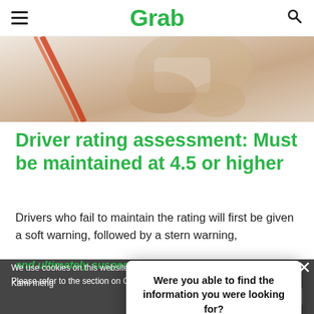≡ Grab 🔍
[Figure (photo): Close-up photo of a hand holding a smartphone, blurred background in warm tones]
Driver rating assessment: Must be maintained at 4.5 or higher
Drivers who fail to maintain the rating will first be given a soft warning, followed by a stern warning, and ultimately suspension with compulsory training
We use cookies on this website to improve our site and your user experience. Please refer to the section on Cookies within our Privacy Policy for more infor...
Kami menggunakan kuki di laman web ini... bahagian Kuki...
Were you able to find the information you were looking for? Reply
×